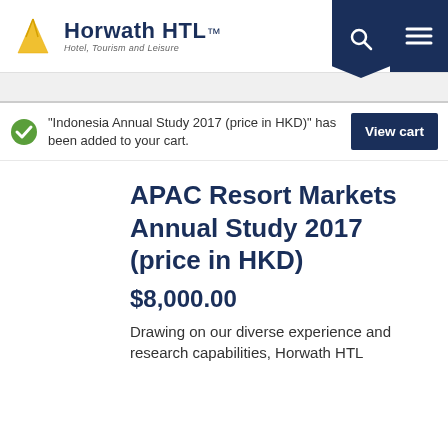[Figure (logo): Horwath HTL logo with triangle icon and tagline Hotel, Tourism and Leisure]
“Indonesia Annual Study 2017 (price in HKD)” has been added to your cart.
View cart
APAC Resort Markets Annual Study 2017 (price in HKD)
$8,000.00
Drawing on our diverse experience and research capabilities, Horwath HTL